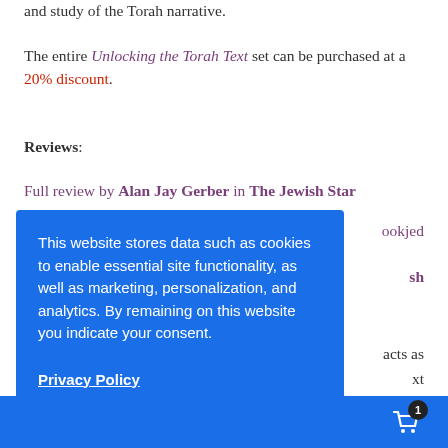and study of the Torah narrative.
The entire Unlocking the Torah Text set can be purchased at a 20% discount.
Reviews:
Full review by Alan Jay Gerber in The Jewish Star
...bookjed
...sh
...acts as
...xt
[Figure (screenshot): Cookie consent overlay popup on a webpage, with blue background reading: 'This website stores data such as cookies to enable essential site functionality, as well as marketing, personalization, and analytics. By remaining on this website you indicate your consent.' with a Privacy Policy link below.]
[Figure (infographic): Blue bottom bar with shopping cart icon and badge showing count 1]